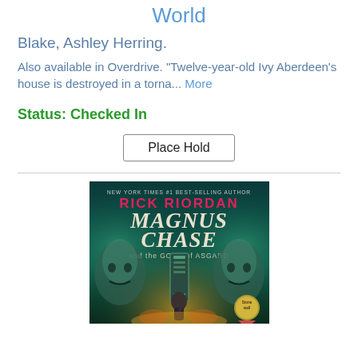World
Blake, Ashley Herring.
Also available in Overdrive. "Twelve-year-old Ivy Aberdeen's house is destroyed in a torna... More
Status: Checked In
Place Hold
[Figure (photo): Book cover of Magnus Chase and the Gods of Asgard by Rick Riordan, New York Times #1 best-selling author. Cover features the protagonist and two large green glowing faces flanking a pillar, with a Stonewall award medal in the corner.]